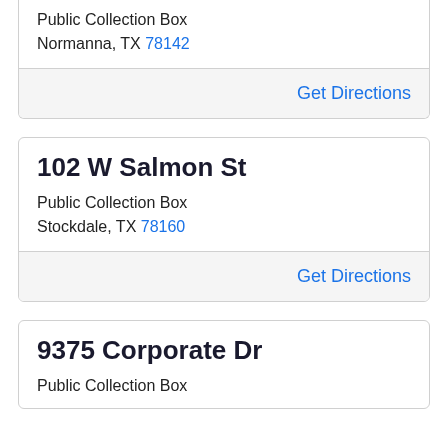Public Collection Box
Normanna, TX 78142
Get Directions
102 W Salmon St
Public Collection Box
Stockdale, TX 78160
Get Directions
9375 Corporate Dr
Public Collection Box